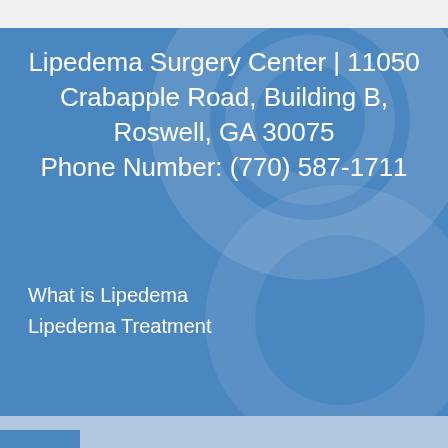Lipedema Surgery Center | 11050 Crabapple Road, Building B, Roswell, GA 30075 Phone Number: (770) 587-1711
What is Lipedema
Lipedema Treatment